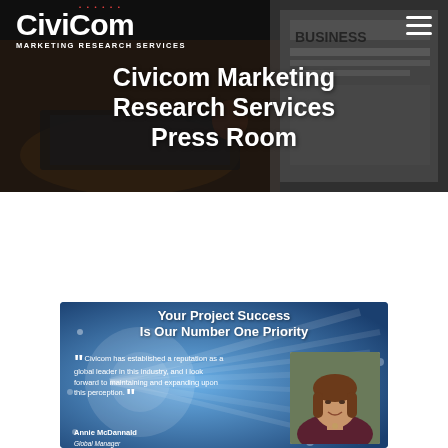[Figure (screenshot): Civicom Marketing Research Services website screenshot. Top hero banner with dark background showing hands typing on laptop and newspaper with 'BUSINESS' text. White Civicom logo top left with red dots and 'MARKETING RESEARCH SERVICES' subtitle. Hamburger menu icon top right. Large white bold text reads 'Civicom Marketing Research Services Press Room'. Below, a promotional card with blue gradient and light rays background, bold text 'Your Project Success Is Our Number One Priority', a quote from Annie McDannald about Civicom's global leader reputation, and a photo of Annie McDannald.]